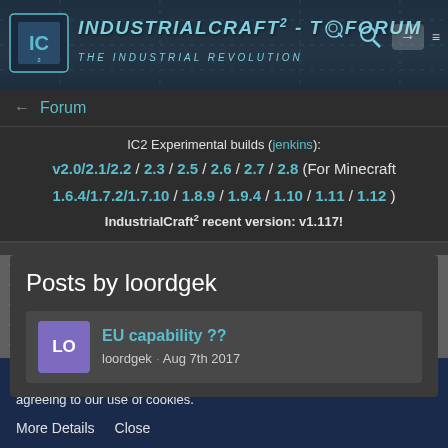[Figure (screenshot): IndustrialCraft² forum website header banner with logo, title text 'IndustrialCraft² - The Forum', subtitle 'The Industrial Revolution', search icon, arrow icon, and menu icon]
← Forum
IC2 Experimental builds (jenkins): v2.0/2.1/2.2 / 2.3 / 2.5 / 2.6 / 2.7 / 2.8 (For Minecraft 1.6.4/1.7.2/1.7.10 / 1.8.9 / 1.9.4 / 1.10 / 1.11 / 1.12) IndustrialCraft² recent version: v1.117!
Posts by loordgek
EU capability ?? loordgek · Aug 7th 2017
This site uses cookies. By continuing to browse this site, you are agreeing to our use of cookies. More Details Close